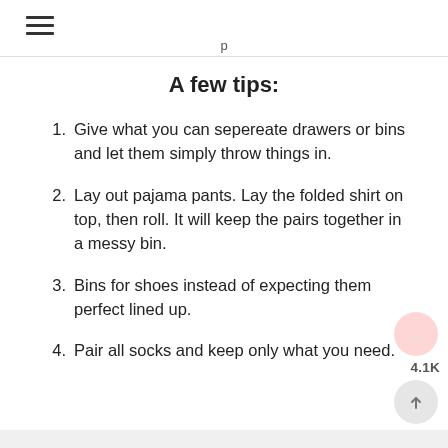A few tips:
Give what you can sepereate drawers or bins and let them simply throw things in.
Lay out pajama pants. Lay the folded shirt on top, then roll. It will keep the pairs together in a messy bin.
Bins for shoes instead of expecting them perfect lined up.
Pair all socks and keep only what you need.